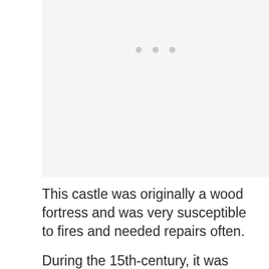[Figure (other): Light gray placeholder image area with three small gray dots centered near the top]
This castle was originally a wood fortress and was very susceptible to fires and needed repairs often.
During the 15th-century, it was